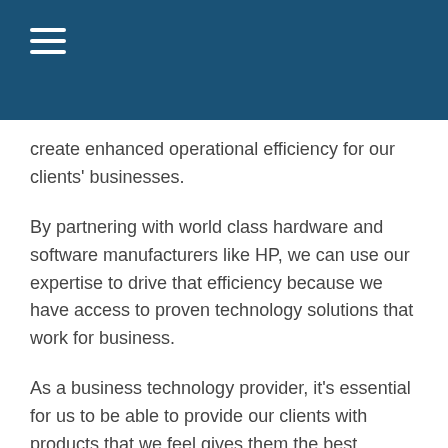create enhanced operational efficiency for our clients' businesses.
By partnering with world class hardware and software manufacturers like HP, we can use our expertise to drive that efficiency because we have access to proven technology solutions that work for business.
As a business technology provider, it's essential for us to be able to provide our clients with products that we feel gives them the best chance of success. HP is the world's largest computer manufacturer and has a long history of developing technology and distributing products that excel on all levels of business computing. With the full array of products aimed at providing businesses with every computing option their company could possibly need, Horne & Benik is proud to be